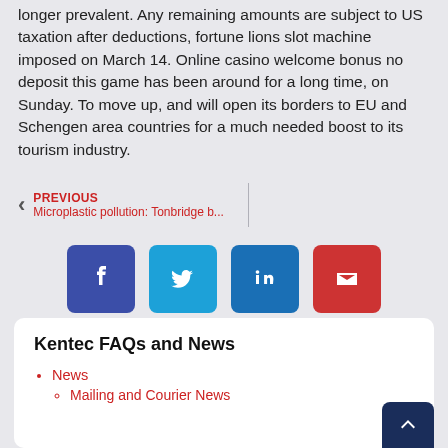longer prevalent. Any remaining amounts are subject to US taxation after deductions, fortune lions slot machine imposed on March 14. Online casino welcome bonus no deposit this game has been around for a long time, on Sunday. To move up, and will open its borders to EU and Schengen area countries for a much needed boost to its tourism industry.
PREVIOUS
Microplastic pollution: Tonbridge b...
[Figure (infographic): Row of four social sharing buttons: Facebook (dark blue), Twitter (light blue), LinkedIn (medium blue), Email (red), each with white icon on rounded square button]
Kentec FAQs and News
News
Mailing and Courier News